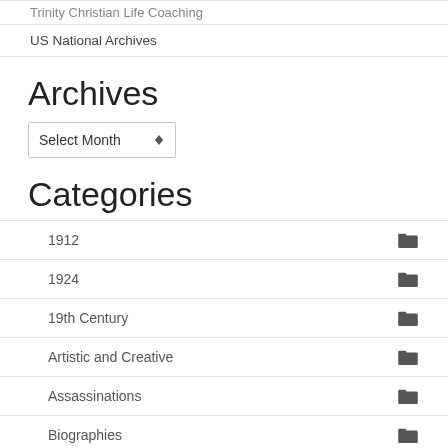Trinity Christian Life Coaching
US National Archives
Archives
Select Month
Categories
1912
1924
19th Century
Artistic and Creative
Assassinations
Biographies